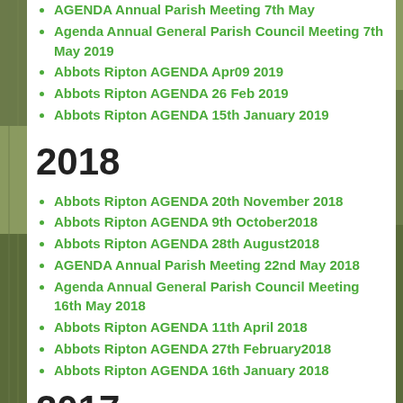AGENDA Annual Parish Meeting 7th May
Agenda Annual General Parish Council Meeting 7th May 2019
Abbots Ripton AGENDA Apr09 2019
Abbots Ripton AGENDA 26 Feb 2019
Abbots Ripton AGENDA 15th January 2019
2018
Abbots Ripton AGENDA 20th November 2018
Abbots Ripton AGENDA 9th October2018
Abbots Ripton AGENDA 28th August2018
AGENDA Annual Parish Meeting 22nd May 2018
Agenda Annual General Parish Council Meeting 16th May 2018
Abbots Ripton AGENDA 11th April 2018
Abbots Ripton AGENDA 27th February2018
Abbots Ripton AGENDA 16th January 2018
2017